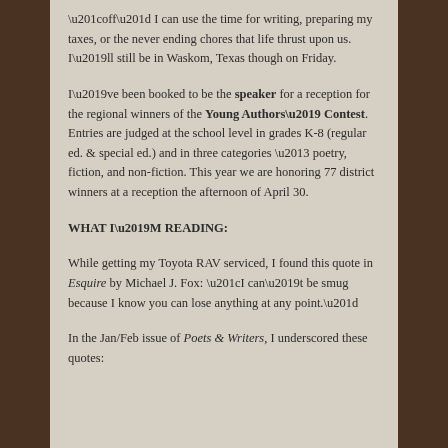“off” I can use the time for writing, preparing my taxes, or the never ending chores that life thrust upon us. I’ll still be in Waskom, Texas though on Friday.
I’ve been booked to be the speaker for a reception for the regional winners of the Young Authors’ Contest. Entries are judged at the school level in grades K-8 (regular ed. & special ed.) and in three categories – poetry, fiction, and non-fiction. This year we are honoring 77 district winners at a reception the afternoon of April 30.
WHAT I’M READING:
While getting my Toyota RAV serviced, I found this quote in Esquire by Michael J. Fox: “I can’t be smug because I know you can lose anything at any point.”
In the Jan/Feb issue of Poets & Writers, I underscored these quotes: